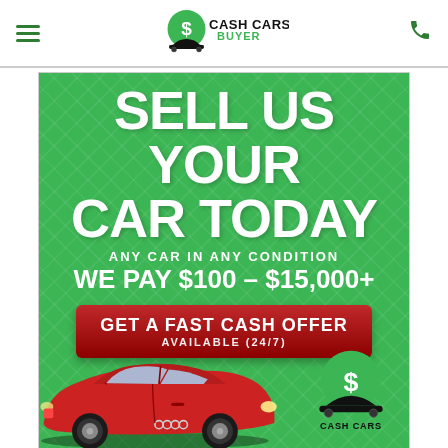Cash Cars Buyer
[Figure (advertisement): Cash Cars Buyer advertisement banner. Green background with diamond pattern. Large white bold text: 'SELL US YOUR CAR TODAY'. Subtext: 'ANY CAR IN ANY CONDITION'. Price text: 'WE PAY $100 - $15,000+'. Red CTA button: 'GET A FAST CASH OFFER / AVAILABLE (24/7)'. Red Audi sedan car image at bottom left. Cash Cars Buyer logo at bottom right.]